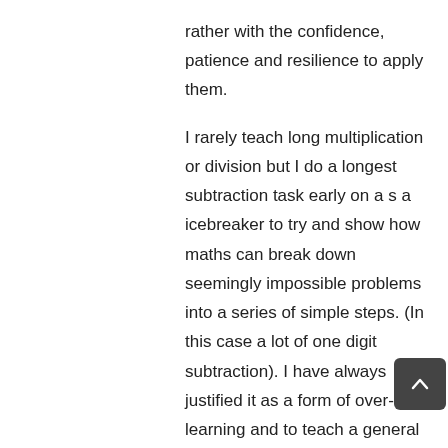rather with the confidence, patience and resilience to apply them.

I rarely teach long multiplication or division but I do a longest subtraction task early on a s a icebreaker to try and show how maths can break down seemingly impossible problems into a series of simple steps. (In this case a lot of one digit subtraction). I have always justified it as a form of over-learning and to teach a general mathematical approach.